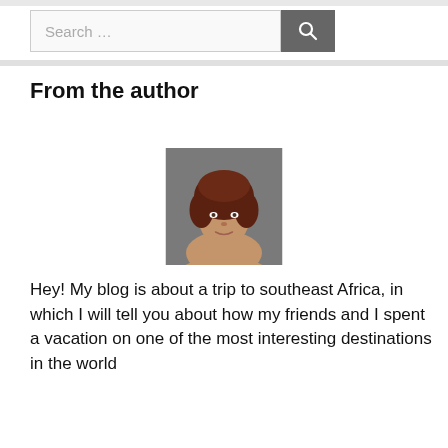[Figure (other): Search bar with text input and magnifying glass button]
From the author
[Figure (photo): Author headshot: woman with curly auburn hair]
Hey! My blog is about a trip to southeast Africa, in which I will tell you about how my friends and I spent a vacation on one of the most interesting destinations in the world...